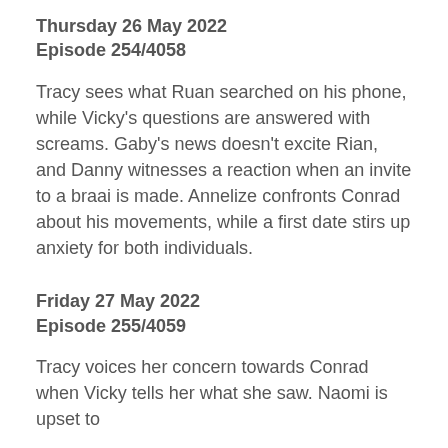Thursday 26 May 2022
Episode 254/4058
Tracy sees what Ruan searched on his phone, while Vicky's questions are answered with screams. Gaby's news doesn't excite Rian, and Danny witnesses a reaction when an invite to a braai is made. Annelize confronts Conrad about his movements, while a first date stirs up anxiety for both individuals.
Friday 27 May 2022
Episode 255/4059
Tracy voices her concern towards Conrad when Vicky tells her what she saw. Naomi is upset to...